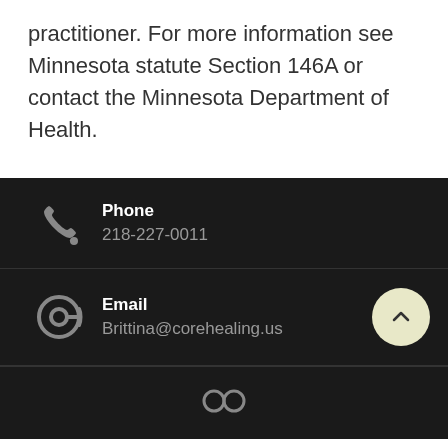practitioner. For more information see Minnesota statute Section 146A or contact the Minnesota Department of Health.
Phone
218-227-0011
Email
Brittina@corehealing.us